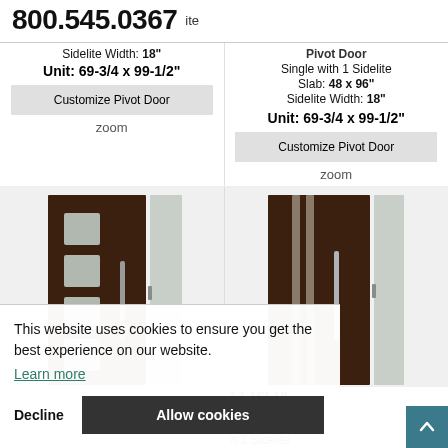800.545.0367   ite
Pivot Door
Single with 1 Sidelite
Slab: 48 x 96"
Sidelite Width: 18"
Sidelite Width: 18"
Unit: 69-3/4 x 99-1/2"
Unit: 69-3/4 x 99-1/2"
Customize Pivot Door
Customize Pivot Door
zoom
zoom
[Figure (photo): Dark brown pivot door with four square glass panels and a tall frosted sidelite on the right side]
[Figure (photo): Dark brown pivot door with vertical metal stripe accents and a tall frosted sidelite on the right side]
L1 1SL18
x96
Door
n 1 Sidelite
8 x 96"
Sidelite Width: 18"
Sidelite Width: 18"
This website uses cookies to ensure you get the best experience on our website.
Learn more
Decline
Allow cookies